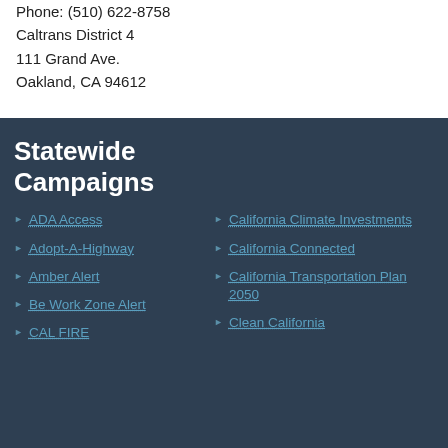Phone: (510) 622-8758
Caltrans District 4
111 Grand Ave.
Oakland, CA 94612
Statewide Campaigns
ADA Access
Adopt-A-Highway
Amber Alert
Be Work Zone Alert
CAL FIRE
California Climate Investments
California Connected
California Transportation Plan 2050
Clean California